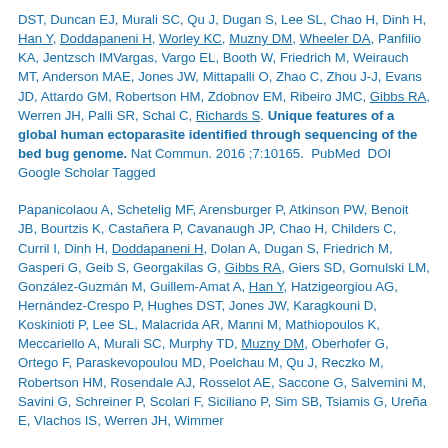DST, Duncan EJ, Murali SC, Qu J, Dugan S, Lee SL, Chao H, Dinh H, Han Y, Doddapaneni H, Worley KC, Muzny DM, Wheeler DA, Panfilio KA, Jentzsch IMVargas, Vargo EL, Booth W, Friedrich M, Weirauch MT, Anderson MAE, Jones JW, Mittapalli O, Zhao C, Zhou J-J, Evans JD, Attardo GM, Robertson HM, Zdobnov EM, Ribeiro JMC, Gibbs RA, Werren JH, Palli SR, Schal C, Richards S. Unique features of a global human ectoparasite identified through sequencing of the bed bug genome. Nat Commun. 2016 ;7:10165.  PubMed  DOI Google Scholar Tagged
Papanicolaou A, Schetelig MF, Arensburger P, Atkinson PW, Benoit JB, Bourtzis K, Castañera P, Cavanaugh JP, Chao H, Childers C, Curril I, Dinh H, Doddapaneni H, Dolan A, Dugan S, Friedrich M, Gasperi G, Geib S, Georgakilas G, Gibbs RA, Giers SD, Gomulski LM, González-Guzmán M, Guillem-Amat A, Han Y, Hatzigeorgiou AG, Hernández-Crespo P, Hughes DST, Jones JW, Karagkouni D, Koskinioti P, Lee SL, Malacrida AR, Manni M, Mathiopoulos K, Meccariello A, Murali SC, Murphy TD, Muzny DM, Oberhofer G, Ortego F, Paraskevopoulou MD, Poelchau M, Qu J, Reczko M, Robertson HM, Rosendale AJ, Rosselot AE, Saccone G, Salvemini M, Savini G, Schreiner P, Scolari F, Siciliano P, Sim SB, Tsiamis G, Ureña E, Vlachos IS, Werren JH, Wimmer